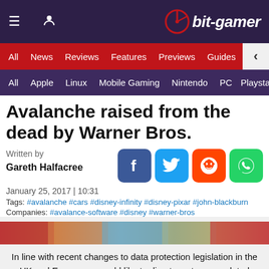bit-gamer
All | News | Reviews | Features | Previews | Guides | Blogs
All | Apple | Linux | Mobile Gaming | Nintendo | PC | Playsta
Avalanche raised from the dead by Warner Bros.
Written by
Gareth Halfacree
January 25, 2017 | 10:31
Tags: #avalanche #cars #disney-infinity #disney-pixar #john-blackburn
Companies: #avalance-software #disney #warner-bros
[Figure (photo): Colorful image strip from article]
In line with recent changes to data protection legislation in the UK and Europe we would like to direct you to our updated Privacy Policy here.
Dismiss